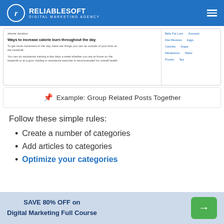RELIABLESOFT DIGITAL MARKETING AGENCY
[Figure (screenshot): Screenshot of a website article about ways to increase calorie burn throughout the day with a sidebar showing related links: Belly Fat Loss, Avocado, Diet Reviews, Eggs, Calories, Sugar, Metabolism, Water, Protein, Tea]
📌 Example: Group Related Posts Together
Follow these simple rules:
Create a number of categories
Add articles to categories
Optimize your categories
SAVE 80% OFF on Digital Marketing Full Course